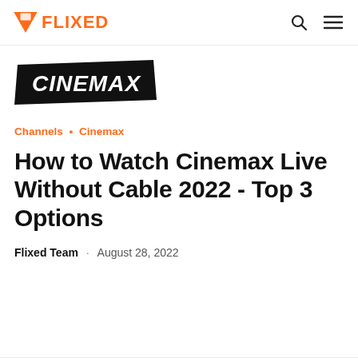FLIXED
[Figure (logo): Cinemax logo — black banner with white italic bold CINEMAX text]
Channels • Cinemax
How to Watch Cinemax Live Without Cable 2022 - Top 3 Options
Flixed Team · August 28, 2022